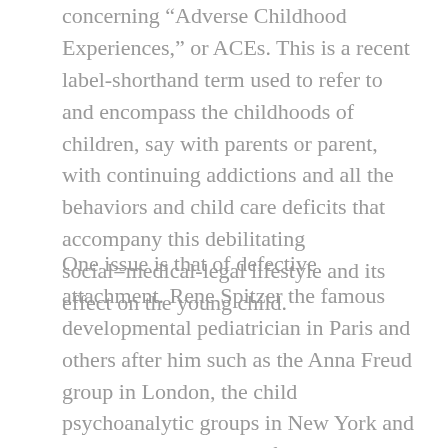concerning “Adverse Childhood Experiences,” or ACEs. This is a recent label-shorthand term used to refer to and encompass the childhoods of children, say with parents or parent, with continuing addictions and all the behaviors and child care deficits that accompany this debilitating social=medical-legal lifestyle and its effect on the young child.
One issue is that of defective attachment. Rene Spitzer the famous developmental pediatrician in Paris and others after him such as the Anna Freud group in London, the child psychoanalytic groups in New York and Boston in the decades after WWII, all demonstrated the importance of attachment between mother and caretaker in the earliest days and months of life through even the teen years